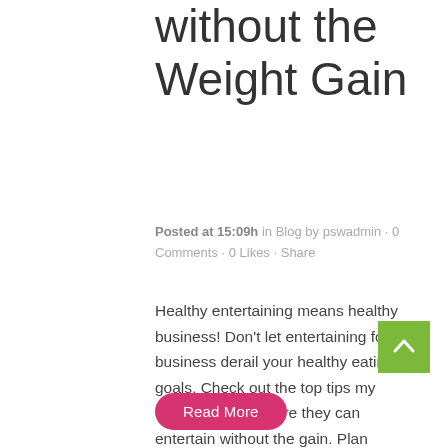without the Weight Gain
Posted at 15:09h in Blog by pswadmin · 0 Comments · 0 Likes · Share
Healthy entertaining means healthy business! Don't let entertaining for business derail your healthy eating goals. Check out the top tips my clients use to ensure they can entertain without the gain. Plan ahead Don't show up to the restaurant starving or before you know it you've scarfed...
Read More